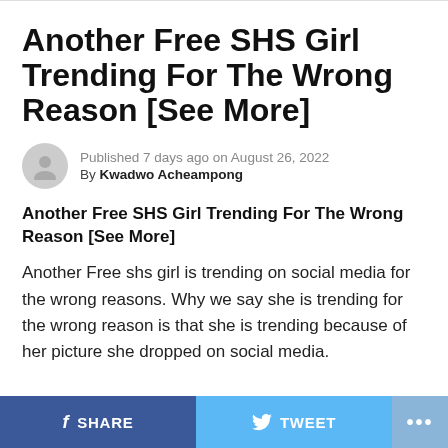Another Free SHS Girl Trending For The Wrong Reason [See More]
Published 7 days ago on August 26, 2022
By Kwadwo Acheampong
Another Free SHS Girl Trending For The Wrong Reason [See More]
Another Free shs girl is trending on social media for the wrong reasons. Why we say she is trending for the wrong reason is that she is trending because of her picture she dropped on social media.
SHARE   TWEET   ...